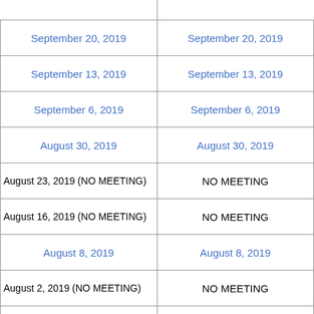| Meeting Date | Minutes/Agenda |
| --- | --- |
| [partial top row] | [partial top row] |
| September 20, 2019 | September 20, 2019 |
| September 13, 2019 | September 13, 2019 |
| September 6, 2019 | September 6, 2019 |
| August 30, 2019 | August 30, 2019 |
| August 23, 2019 (NO MEETING) | NO MEETING |
| August 16, 2019 (NO MEETING) | NO MEETING |
| August 8, 2019 | August 8, 2019 |
| August 2, 2019 (NO MEETING) | NO MEETING |
| July 18, 2019 | July 18, 2019 |